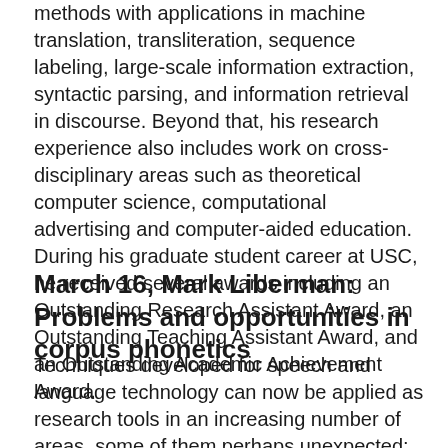methods with applications in machine translation, transliteration, sequence labeling, large-scale information extraction, syntactic parsing, and information retrieval in discourse. Beyond that, his research experience also includes work on cross-disciplinary areas such as theoretical computer science, computational advertising and computer-aided education. During his graduate student career at USC, he received several awards including an Outstanding Research Assistant Award, an Outstanding Teaching Assistant Award, and an Outstanding Academic Achievement Award.
March 16, Mark Liberman: Problems and opportunities in corpus phonetics
Techniques developed for speech and language technology can now be applied as research tools in an increasing number of areas, some of them perhaps unexpected: sociolinguistics, psycholinguistics, language